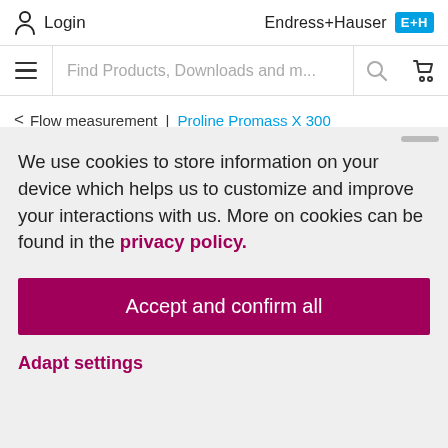Login  |  Endress+Hauser EH
Find Products, Downloads and m...
< Flow measurement | Proline Promass X 300
We use cookies to store information on your device which helps us to customize and improve your interactions with us. More on cookies can be found in the privacy policy.
Accept and confirm all
Adapt settings